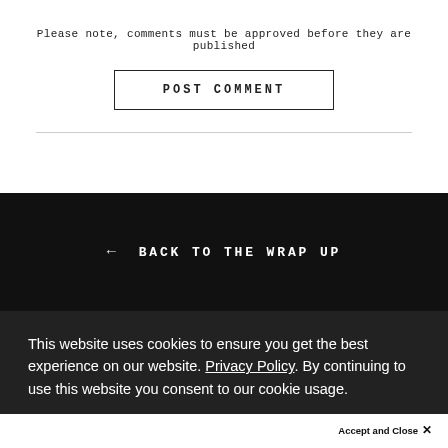Please note, comments must be approved before they are published
POST COMMENT
← BACK TO THE WRAP UP
This website uses cookies to ensure you get the best experience on our website. Privacy Policy. By continuing to use this website you consent to our cookie usage.
Accept and Close ✕
Your browser settings do not allow cross-site tracking for advertising. Click on this page to allow AdRoll to use cross-site tracking to tailor ads to you. Learn more or opt out of this AdRoll tracking by clicking here. This message only appears once.